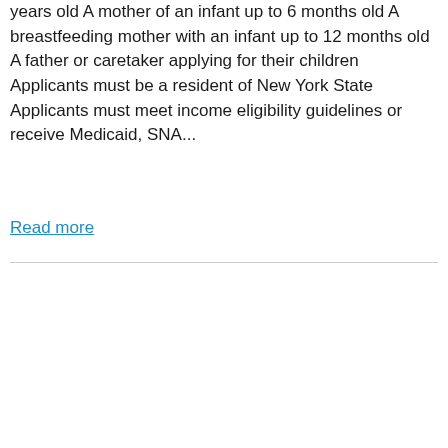years old A mother of an infant up to 6 months old A breastfeeding mother with an infant up to 12 months old A father or caretaker applying for their children Applicants must be a resident of New York State Applicants must meet income eligibility guidelines or receive Medicaid, SNA...
Read more